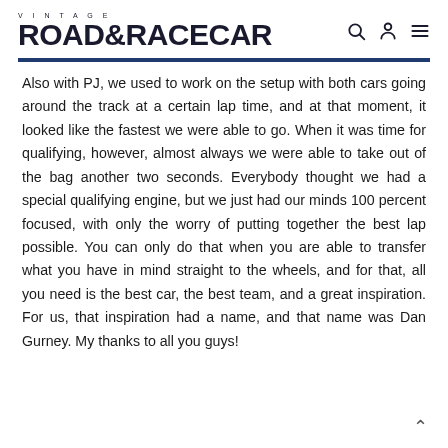VINTAGE ROAD & RACECAR
Also with PJ, we used to work on the setup with both cars going around the track at a certain lap time, and at that moment, it looked like the fastest we were able to go. When it was time for qualifying, however, almost always we were able to take out of the bag another two seconds. Everybody thought we had a special qualifying engine, but we just had our minds 100 percent focused, with only the worry of putting together the best lap possible. You can only do that when you are able to transfer what you have in mind straight to the wheels, and for that, all you need is the best car, the best team, and a great inspiration. For us, that inspiration had a name, and that name was Dan Gurney. My thanks to all you guys!